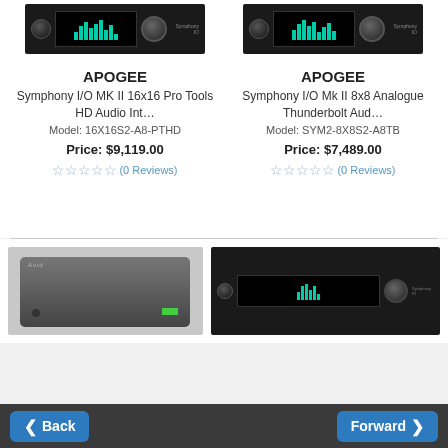[Figure (photo): Apogee Symphony I/O MK II 16x16 Pro Tools HD Audio Interface rack unit, black, front view]
[Figure (photo): Apogee Symphony I/O Mk II 8x8 Analogue Thunderbolt Audio Interface rack unit, black, front view]
APOGEE
Symphony I/O MK II 16x16 Pro Tools HD Audio Int…
Model: 16X16S2-A8-PTHD
Price: $9,119.00
(0 Reviews)
APOGEE
Symphony I/O Mk II 8x8 Analogue Thunderbolt Aud…
Model: SYM2-8X8S2-A8TB
Price: $7,489.00
(0 Reviews)
[Figure (photo): Black audio interface box, angled view from top-left]
[Figure (photo): Apogee rack unit, black, front panel visible, partially cropped]